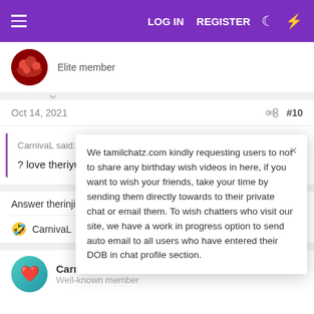LOG IN   REGISTER
Elite member
Oct 14, 2021   #10
CarnivaL said: ↑
? love theriyudha ? madras eye nu solvinga ?
Answer therinjikite...
CarnivaL
CarnivaL
Well-known member
We tamilchatz.com kindly requesting users to not to share any birthday wish videos in here, if you want to wish your friends, take your time by sending them directly towards to their private chat or email them. To wish chatters who visit our site, we have a work in progress option to send auto email to all users who have entered their DOB in chat profile section.